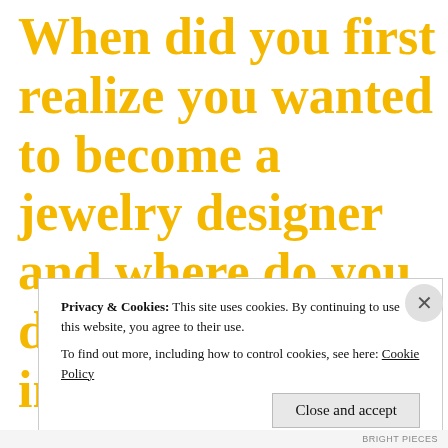When did you first realize you wanted to become a jewelry designer and where do you draw your inspiration?
Privacy & Cookies: This site uses cookies. By continuing to use this website, you agree to their use. To find out more, including how to control cookies, see here: Cookie Policy